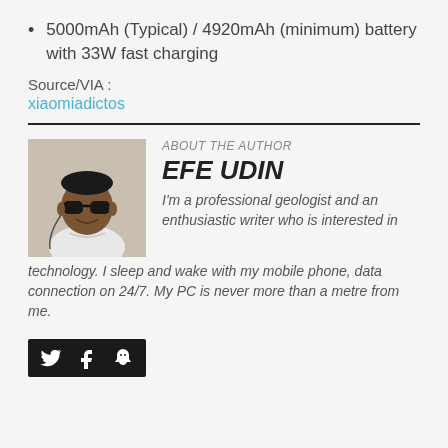5000mAh (Typical) / 4920mAh (minimum) battery with 33W fast charging
Source/VIA :
xiaomiadictos
[Figure (photo): Portrait photo of Efe Udin wearing sunglasses and a white shirt]
ABOUT THE AUTHOR
EFE UDIN
I'm a professional geologist and an enthusiastic writer who is interested in technology. I sleep and wake with my mobile phone, data connection on 24/7. My PC is never more than a metre from me.
[Figure (infographic): Social media icons bar with Twitter, Facebook, and Snapchat icons on dark background]